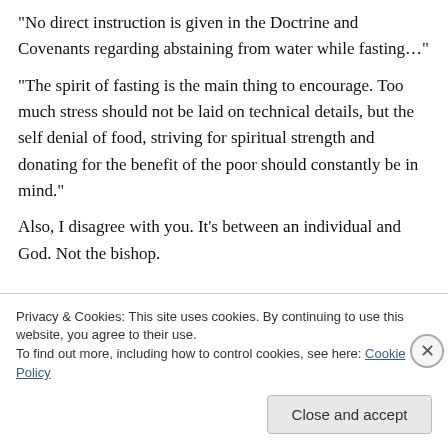“No direct instruction is given in the Doctrine and Covenants regarding abstaining from water while fasting…”
“The spirit of fasting is the main thing to encourage. Too much stress should not be laid on technical details, but the self denial of food, striving for spiritual strength and donating for the benefit of the poor should constantly be in mind.”
Also, I disagree with you. It’s between an individual and God. Not the bishop.
Privacy & Cookies: This site uses cookies. By continuing to use this website, you agree to their use.
To find out more, including how to control cookies, see here: Cookie Policy
Close and accept